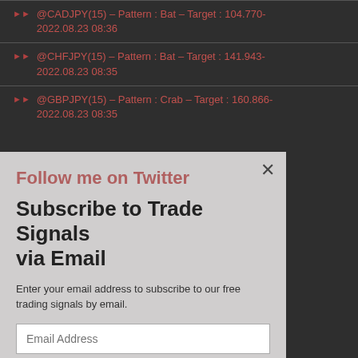@CADJPY(15) – Pattern : Bat – Target : 104.770- 2022.08.23 08:36
@CHFJPY(15) – Pattern : Bat – Target : 141.943- 2022.08.23 08:35
@GBPJPY(15) – Pattern : Crab – Target : 160.866- 2022.08.23 08:35
Follow me on Twitter
Subscribe to Trade Signals via Email
Enter your email address to subscribe to our free trading signals by email.
Email Address
Subscribe
Terms of Use
Anti-Spam Policy
Earnings & Income Disclaimers
Disclaimers & Legal Rights
Privacy Policy